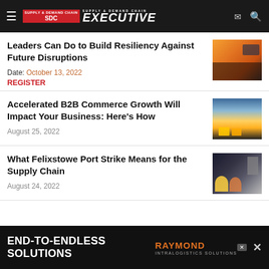SDC Supply & Demand Chain Executive
Leaders Can Do to Build Resiliency Against Future Disruptions
Date: October 13, 2022
REGISTER
Accelerated B2B Commerce Growth Will Impact Your Business: Here's How
August 25, 2022
What Felixstowe Port Strike Means for the Supply Chain
August 24, 2022
[Figure (photo): Advertisement banner: END-TO-ENDLESS SOLUTIONS – Raymond Intralogistics Solutions]